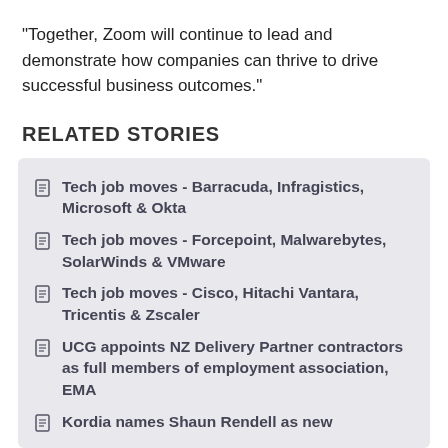"Together, Zoom will continue to lead and demonstrate how companies can thrive to drive successful business outcomes."
RELATED STORIES
Tech job moves - Barracuda, Infragistics, Microsoft & Okta
Tech job moves - Forcepoint, Malwarebytes, SolarWinds & VMware
Tech job moves - Cisco, Hitachi Vantara, Tricentis & Zscaler
UCG appoints NZ Delivery Partner contractors as full members of employment association, EMA
Kordia names Shaun Rendell as new